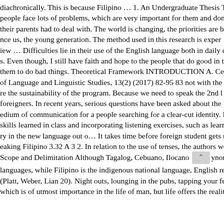diachronically. This is because Filipino … 1. An Undergraduate Thesis Th people face lots of problems, which are very important for them and don' their parents had to deal with. The world is changing, the priorities are be nce us, the young generation. The method used in this research is exper iew … Difficulties lie in their use of the English language both in daily com s. Even though, I still have faith and hope to the people that do good in th them to do bad things. Theoretical Framework INTRODUCTION A. Cere of Language and Linguistic Studies, 13(2) (2017) 82-95 83 not with the c re the sustainability of the program. Because we need to speak the 2nd l foreigners. In recent years, serious questions have been asked about the edium of communication for a people searching for a clear-cut identity. E skills learned in class and incorporating listening exercises, such as learn ry in the new language out o… It takes time before foreign student gets u eaking Filipino 3.32 A 3 2. In relation to the use of tenses, the authors we Scope and Delimitation Although Tagalog, Cebuano, Ilocano [scroll] ynon, languages, while Filipino is the indigenous national language, English rem (Platt, Weber, Lian 20). Night outs, lounging in the pubs, tapping your fee which is of utmost importance in the life of man, but life offers the realities